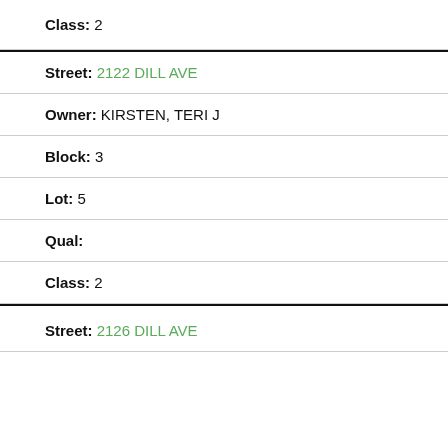Class: 2
Street: 2122 DILL AVE
Owner: KIRSTEN, TERI J
Block: 3
Lot: 5
Qual:
Class: 2
Street: 2126 DILL AVE